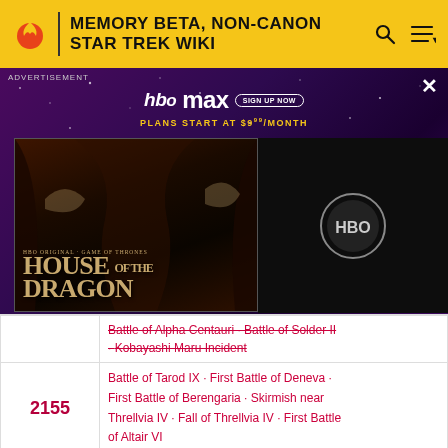MEMORY BETA, NON-CANON STAR TREK WIKI
[Figure (screenshot): HBO Max advertisement banner featuring House of the Dragon promotional image on a purple starry background]
| Year | Events |
| --- | --- |
|  | Battle of Alpha Centauri · Battle of Solder II · Kobayashi Maru Incident |
| 2155 | Battle of Tarod IX · First Battle of Deneva · First Battle of Berengaria · Skirmish near Threllvia IV · Fall of Threllvia IV · First Battle of Altair VI |
A friendly reminder regarding spoilers! At present the expanded Trek universe is in a period of major upheaval with
READ MORE